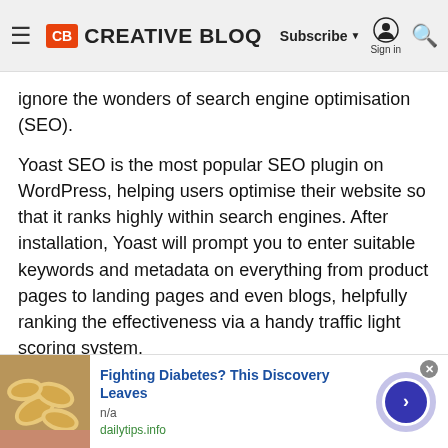Creative Bloq — Subscribe | Sign in
ignore the wonders of search engine optimisation (SEO).
Yoast SEO is the most popular SEO plugin on WordPress, helping users optimise their website so that it ranks highly within search engines. After installation, Yoast will prompt you to enter suitable keywords and metadata on everything from product pages to landing pages and even blogs, helpfully ranking the effectiveness via a handy traffic light scoring system.
To keep up with the pace of change in this field, given the evolving nature of search engines, Yoast is
[Figure (screenshot): Advertisement banner: cashew nuts image on left, text 'Fighting Diabetes? This Discovery Leaves' in blue bold, 'n/a' in grey, 'dailytips.info' in green, with a purple arrow button on the right and close button top-right.]